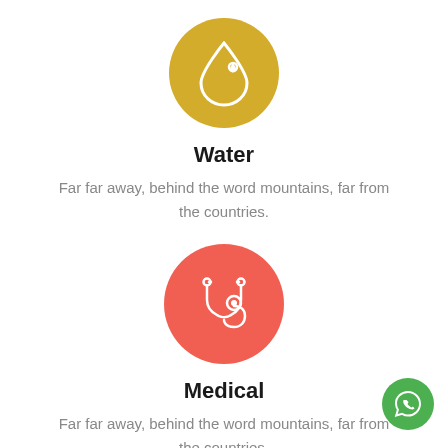[Figure (illustration): Gold/yellow circle with white water drop icon]
Water
Far far away, behind the word mountains, far from the countries.
[Figure (illustration): Red/coral circle with white stethoscope icon]
Medical
Far far away, behind the word mountains, far from the countries.
[Figure (illustration): Green circle with white WhatsApp phone icon, bottom right corner]